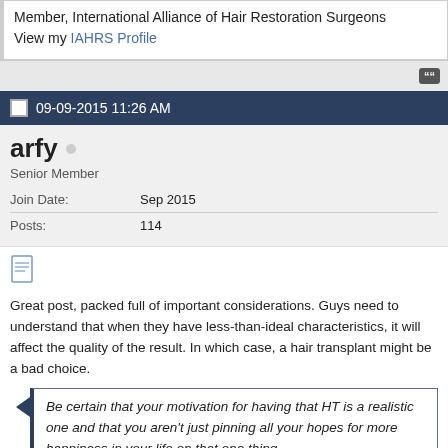Member, International Alliance of Hair Restoration Surgeons
View my IAHRS Profile
09-09-2015 11:26 AM
arfy
Senior Member
| Join Date: | Sep 2015 |
| Posts: | 114 |
Great post, packed full of important considerations. Guys need to understand that when they have less-than-ideal characteristics, it will affect the quality of the result. In which case, a hair transplant might be a bad choice.
Be certain that your motivation for having that HT is a realistic one and that you aren't just pinning all your hopes for more happiness in your life on that one thing.
The guys who are extremely self-conscious or depressed about their hair will also be extremely self conscious or depressed about their hair transplant. There's an assumption among some people that hair transplants are always confidence-boosting, but that isn't always true. You might be jumping from the frying pan into